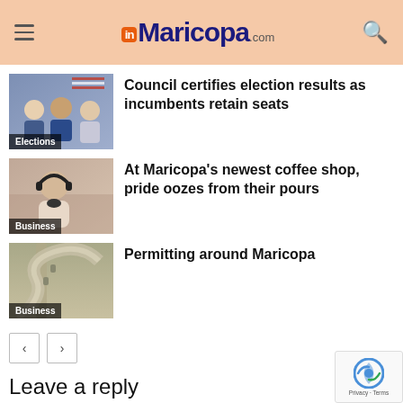inMaricopa.com
[Figure (photo): Three men posing together with an American flag in the background, labeled Elections]
Council certifies election results as incumbents retain seats
[Figure (photo): Woman wearing headphones in what appears to be a coffee shop setting, labeled Business]
At Maricopa's newest coffee shop, pride oozes from their pours
[Figure (photo): Aerial view of roads and construction around Maricopa, labeled Business]
Permitting around Maricopa
Leave a reply